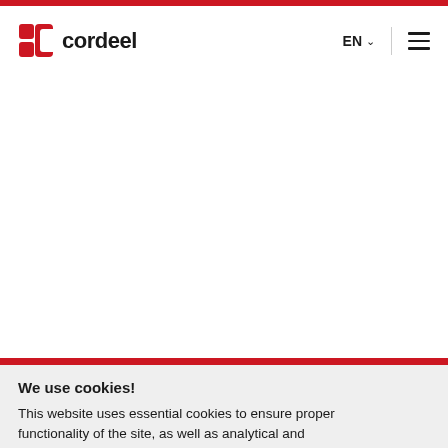[Figure (logo): Cordeel company logo with red icon and text 'cordeel']
EN ☰
We use cookies! This website uses essential cookies to ensure proper functionality of the site, as well as analytical and